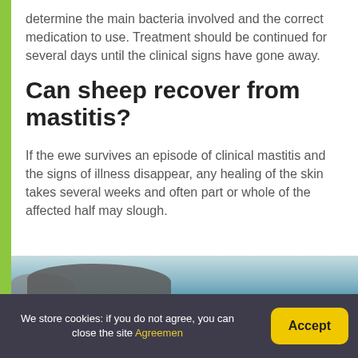determine the main bacteria involved and the correct medication to use. Treatment should be continued for several days until the clinical signs have gone away.
Can sheep recover from mastitis?
If the ewe survives an episode of clinical mastitis and the signs of illness disappear, any healing of the skin takes several weeks and often part or whole of the affected half may slough.
[Figure (photo): Partial view of a sheep or animal photo, cropped at bottom of page]
We store cookies: if you do not agree, you can close the site Agreemen